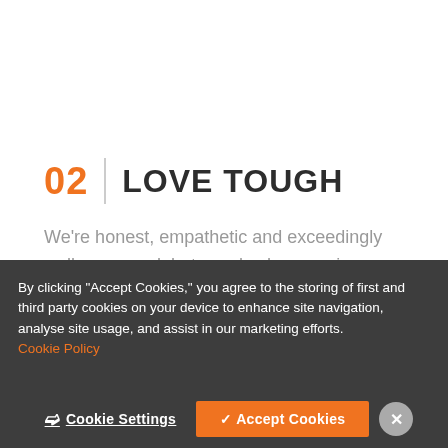02 | LOVE TOUGH
We're honest, empathetic and exceedingly well mannered, but we also have serious
By clicking “Accept Cookies,” you agree to the storing of first and third party cookies on your device to enhance site navigation, analyse site usage, and assist in our marketing efforts.
Cookie Policy
❯ Cookie Settings  ✓ Accept Cookies  ×